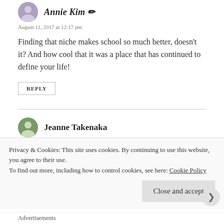August 11, 2017 at 12:17 pm
Finding that niche makes school so much better, doesn’t it? And how cool that it was a place that has continued to define your life!
REPLY
Jeanne Takenaka
August 11, 2017 at 7:27 am
A awesome Annie Kim store to... If t position f...
Privacy & Cookies: This site uses cookies. By continuing to use this website, you agree to their use.
To find out more, including how to control cookies, see here: Cookie Policy
Close and accept
Advertisements